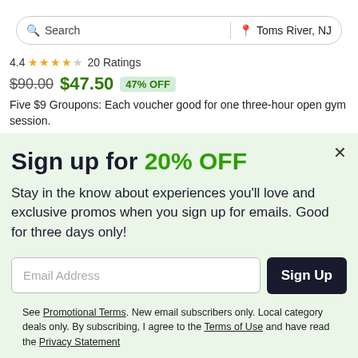[Figure (screenshot): Search bar with 'Search' text and location 'Toms River, NJ']
4.4 ★★★★☆ 20 Ratings
$90.00  $47.50  47% OFF
Five $9 Groupons: Each voucher good for one three-hour open gym session.
Sign up for 20% OFF
Stay in the know about experiences you'll love and exclusive promos when you sign up for emails. Good for three days only!
Email Address
Sign Up
See Promotional Terms. New email subscribers only. Local category deals only. By subscribing, I agree to the Terms of Use and have read the Privacy Statement